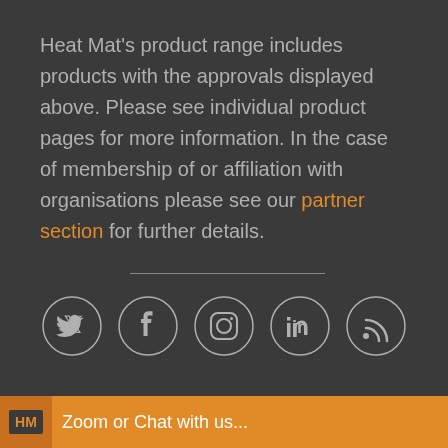Heat Mat's product range includes products with the approvals displayed above. Please see individual product pages for more information. In the case of membership of or affiliation with organisations please see our partner section for further details.
[Figure (other): Horizontal divider line]
[Figure (other): Social media icons: Twitter, Facebook, Instagram, LinkedIn, RSS feed — each in a circular outline border]
HM  Zoom or Chat with us...